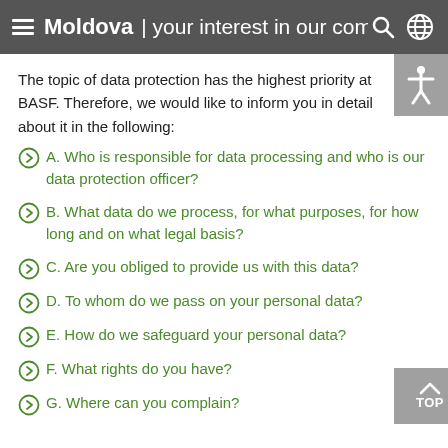Moldova | your interest in our company.
The topic of data protection has the highest priority at BASF. Therefore, we would like to inform you in detail about it in the following:
A. Who is responsible for data processing and who is our data protection officer?
B. What data do we process, for what purposes, for how long and on what legal basis?
C. Are you obliged to provide us with this data?
D. To whom do we pass on your personal data?
E. How do we safeguard your personal data?
F. What rights do you have?
G. Where can you complain?